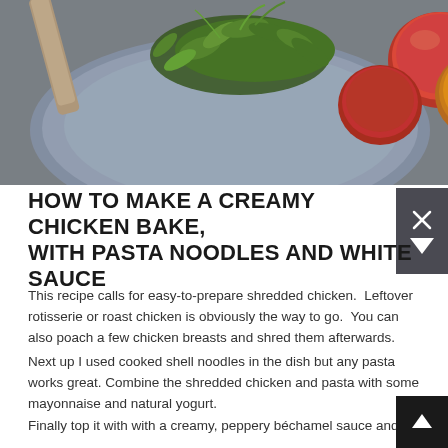[Figure (photo): A blue plate with cherry tomatoes (red and yellow) and fresh green herbs/microgreens on a wooden grey surface]
HOW TO MAKE A CREAMY CHICKEN BAKE, WITH PASTA NOODLES AND WHITE SAUCE
This recipe calls for easy-to-prepare shredded chicken.  Leftover rotisserie or roast chicken is obviously the way to go.  You can also poach a few chicken breasts and shred them afterwards.
Next up I used cooked shell noodles in the dish but any pasta works great. Combine the shredded chicken and pasta with some mayonnaise and natural yogurt.
Finally top it with with a creamy, peppery béchamel sauce and